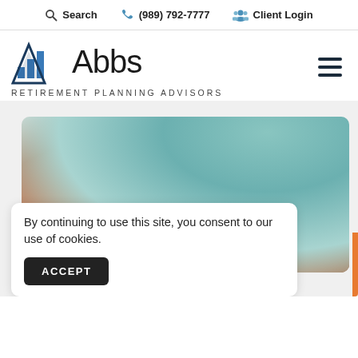Search  (989) 792-7777  Client Login
[Figure (logo): Abbs Retirement Planning Advisors logo with triangle/bar chart icon in blue]
By continuing to use this site, you consent to our use of cookies.
ACCEPT